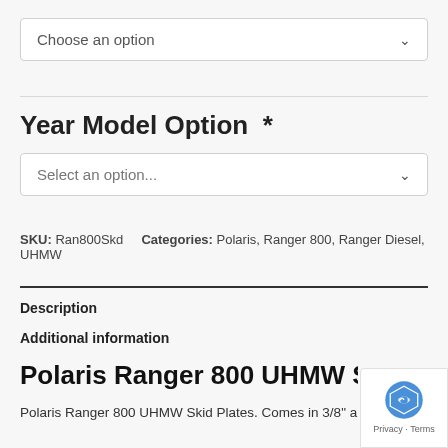Choose an option
Year Model Option *
Select an option...
SKU: Ran800Skd     Categories: Polaris, Ranger 800, Ranger Diesel, UHMW
Description
Additional information
Polaris Ranger 800 UHMW Skid Pla
Polaris Ranger 800 UHMW Skid Plates. Comes in 3/8" and 1/2 thicknesses.